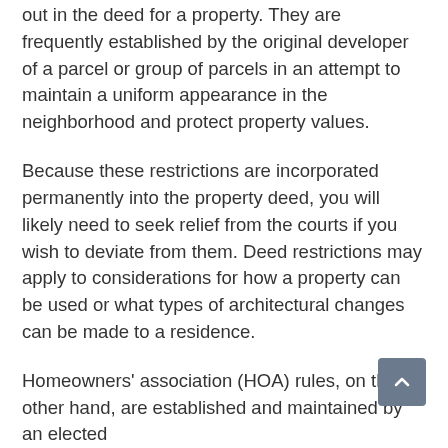out in the deed for a property. They are frequently established by the original developer of a parcel or group of parcels in an attempt to maintain a uniform appearance in the neighborhood and protect property values.
Because these restrictions are incorporated permanently into the property deed, you will likely need to seek relief from the courts if you wish to deviate from them. Deed restrictions may apply to considerations for how a property can be used or what types of architectural changes can be made to a residence.
Homeowners' association (HOA) rules, on the other hand, are established and maintained by an elected